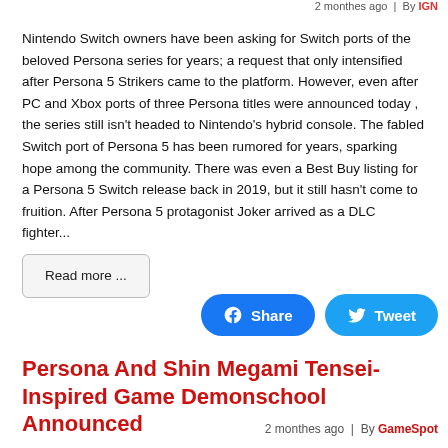2 monthes ago  |  By IGN
Nintendo Switch owners have been asking for Switch ports of the beloved Persona series for years; a request that only intensified after Persona 5 Strikers came to the platform. However, even after PC and Xbox ports of three Persona titles were announced today , the series still isn't headed to Nintendo's hybrid console. The fabled Switch port of Persona 5 has been rumored for years, sparking hope among the community. There was even a Best Buy listing for a Persona 5 Switch release back in 2019, but it still hasn't come to fruition. After Persona 5 protagonist Joker arrived as a DLC fighter...
Read more ...
[Figure (other): Facebook Share button and Twitter Tweet button]
Persona And Shin Megami Tensei-Inspired Game Demonschool Announced
2 monthes ago  |  By GameSpot